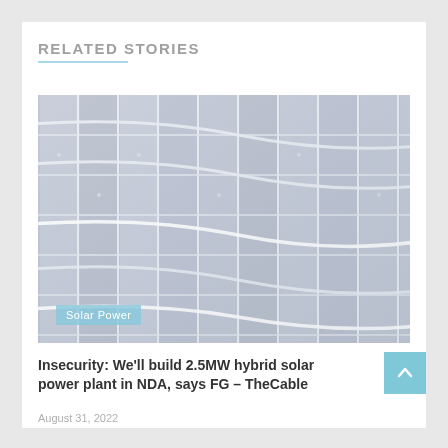RELATED STORIES
[Figure (photo): Photograph of solar panels with a light blue/gray grid pattern. A tag labelled 'Solar Power' appears in the lower left corner of the image.]
Insecurity: We'll build 2.5MW hybrid solar power plant in NDA, says FG – TheCable
August 31, 2022